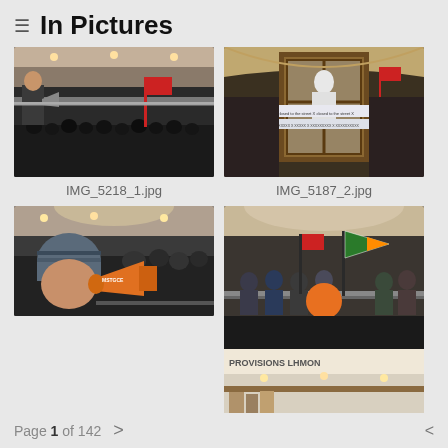≡  In Pictures
[Figure (photo): Indoor shopping mall protest scene, person speaking into megaphone on escalator level with crowd below, red flag visible]
IMG_5218_1.jpg
[Figure (photo): Interior of luxury store with circular glass elevator/display case, protest banners reading closed text, red flag visible on staircase]
IMG_5187_2.jpg
[Figure (photo): Close-up of person in knit hat using orange megaphone/bullhorn inside shopping mall, crowd visible in background]
[Figure (photo): Two-part composite: top shows indoor mall balcony with protesters holding flags (green, red, orange); bottom shows luxury store interior with people shopping]
Page 1 of 142  >  <